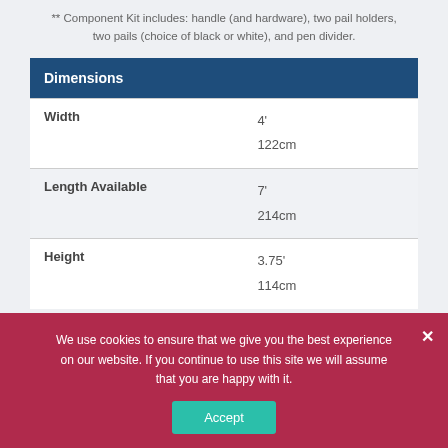** Component Kit includes: handle (and hardware), two pail holders, two pails (choice of black or white), and pen divider.
| Dimensions |  |
| --- | --- |
| Width | 4'
122cm |
| Length Available | 7'
214cm |
| Height | 3.75'
114cm |
We use cookies to ensure that we give you the best experience on our website. If you continue to use this site we will assume that you are happy with it.